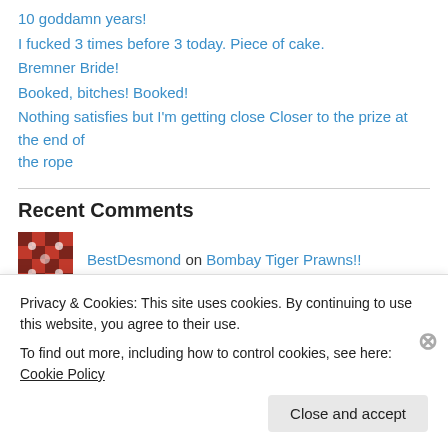10 goddamn years!
I fucked 3 times before 3 today. Piece of cake.
Bremner Bride!
Booked, bitches! Booked!
Nothing satisfies but I'm getting close Closer to the prize at the end of the rope
Recent Comments
BestDesmond on Bombay Tiger Prawns!!
danistrulytheman on Ok, I'll take…
Privacy & Cookies: This site uses cookies. By continuing to use this website, you agree to their use.
To find out more, including how to control cookies, see here: Cookie Policy